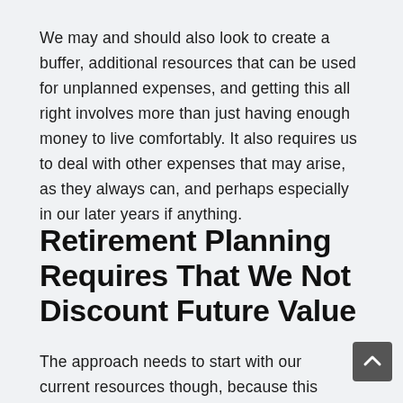We may and should also look to create a buffer, additional resources that can be used for unplanned expenses, and getting this all right involves more than just having enough money to live comfortably. It also requires us to deal with other expenses that may arise, as they always can, and perhaps especially in our later years if anything.
Retirement Planning Requires That We Not Discount Future Value
The approach needs to start with our current resources though, because this is always the context of when these decisions are made, and always